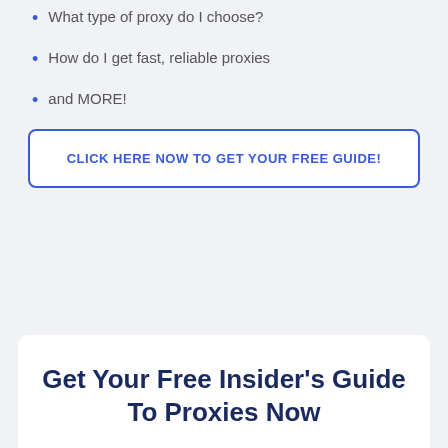What type of proxy do I choose?
How do I get fast, reliable proxies
and MORE!
CLICK HERE NOW TO GET YOUR FREE GUIDE!
Get Your Free Insider's Guide To Proxies Now